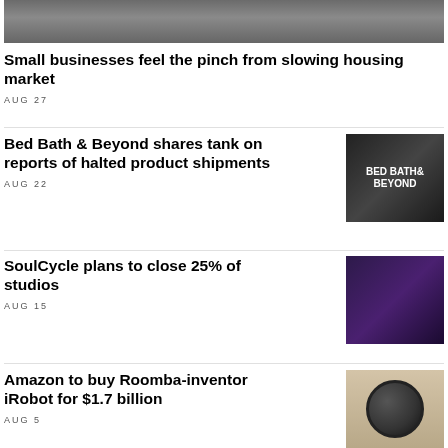[Figure (photo): Top banner photo showing the exterior of a building with windows and graffiti]
Small businesses feel the pinch from slowing housing market
AUG 27
Bed Bath & Beyond shares tank on reports of halted product shipments
AUG 22
[Figure (photo): Photo of a Bed Bath & Beyond store exterior showing the store sign]
SoulCycle plans to close 25% of studios
AUG 15
[Figure (photo): Photo of people riding stationary bikes in a SoulCycle studio with purple lighting]
Amazon to buy Roomba-inventor iRobot for $1.7 billion
AUG 5
[Figure (photo): Photo of a Roomba robot vacuum cleaner on a carpet floor]